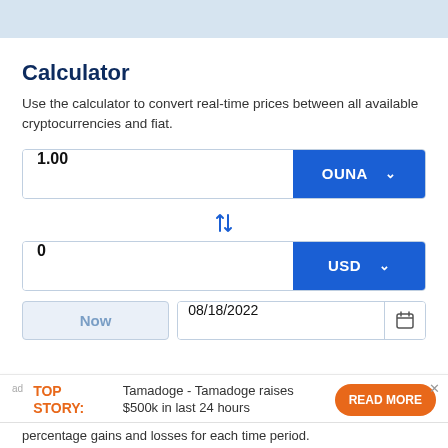[Figure (other): Light blue banner/header image at top of page]
Calculator
Use the calculator to convert real-time prices between all available cryptocurrencies and fiat.
Input field showing 1.00 with OUNA currency selector button
[Figure (other): Swap/exchange icon with up and down arrows]
Input field showing 0 with USD currency selector button
Now button and date field showing 08/18/2022 with calendar icon
ad TOP STORY: Tamadoge - Tamadoge raises $500k in last 24 hours  READ MORE
percentage gains and losses for each time period.